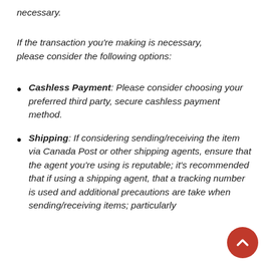necessary.
If the transaction you're making is necessary, please consider the following options:
Cashless Payment: Please consider choosing your preferred third party, secure cashless payment method.
Shipping: If considering sending/receiving the item via Canada Post or other shipping agents, ensure that the agent you're using is reputable; it's recommended that if using a shipping agent, that a tracking number is used and additional precautions are taken when sending/receiving items; particularly when sending/receiving items; particularly